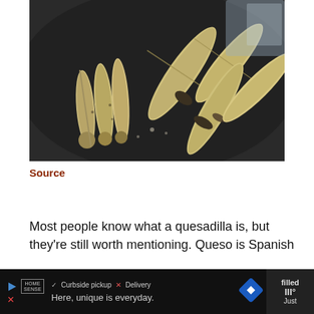[Figure (photo): Several folded and rolled corn tortillas (tacos/quesadillas) cooking on a dark comal/griddle, some folded in half with dark filling visible, others rolled tightly.]
Source
Most people know what a quesadilla is, but they're still worth mentioning. Queso is Spanish
[Figure (other): Advertisement bar at bottom: Home Sense ad with play button, X close button, checkmark Curbside pickup, X Delivery text, 'Here, unique is everyday.' slogan, blue diamond navigation icon, and partially visible text 'filled' and 'Just' on right side.]